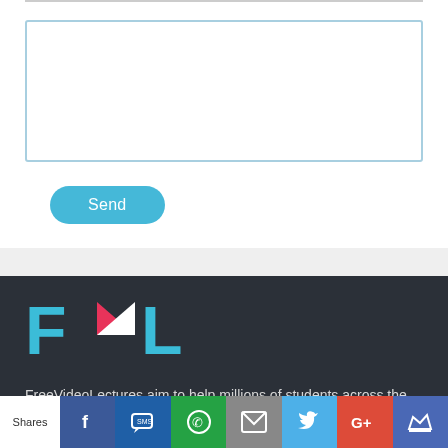[Figure (screenshot): White text input textarea with light blue border, empty comment/message box]
[Figure (other): Blue rounded 'Send' button]
[Figure (logo): FVL logo - FreeVideoLectures logo with cyan F and L letters and pink/white play triangle for V, on dark background]
FreeVideoLectures aim to help millions of students across the world acquire knowledge, gain good grades, get jobs
[Figure (infographic): Social share bar with Shares label, Facebook, SMS, WhatsApp, Email, Twitter, Google+, and crown icons]